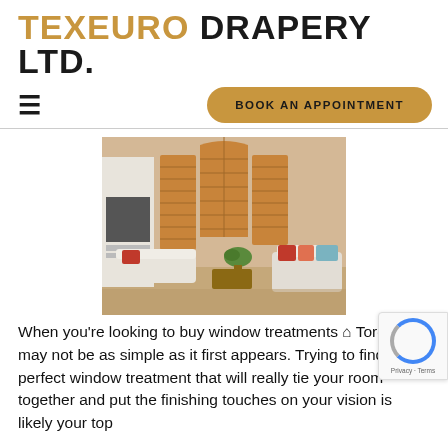TEXEURO DRAPERY LTD.
BOOK AN APPOINTMENT
[Figure (photo): Interior room with large wooden plantation shutters on tall arched windows, white sofa with red pillows, and a living room setting]
When you're looking to buy window treatments in Toronto, it may not be as simple as it first appears. Trying to find that perfect window treatment that will really tie your room together and put the finishing touches on your vision is likely your top